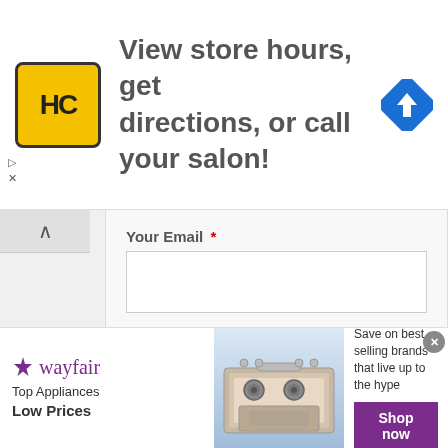[Figure (screenshot): Top advertisement banner for Hair Club (HC) showing yellow logo with H and C letters, text 'View store hours, get directions, or call your salon!' and blue navigation diamond icon on right. Small play and X controls on left side.]
Your Email *
Review Title *
Review Text *
[Figure (screenshot): Bottom Wayfair advertisement showing logo, 'Top Appliances Low Prices' text, image of a stove/range appliance, and 'Save on best selling brands that live up to the hype' text with purple 'Shop now' button. Infolinks badge visible in lower left corner of form section.]